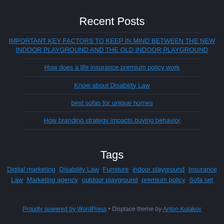Recent Posts
IMPORTANT KEY FACTORS TO KEEP IN MIND BETWEEN THE NEW INDOOR PLAYGROUND AND THE OLD INDOOR PLAYGROUND
How does a life insurance premium policy work
Know about Disability Law
best sofas for unique homes
How branding strategy impacts buying behavior
Tags
Digital marketing Disability Law Furniture indoor playground Insurance Law Marketing agency outdoor playground premium policy Sofa set
Proudly powered by WordPress • Displace theme by Anton Kulakov